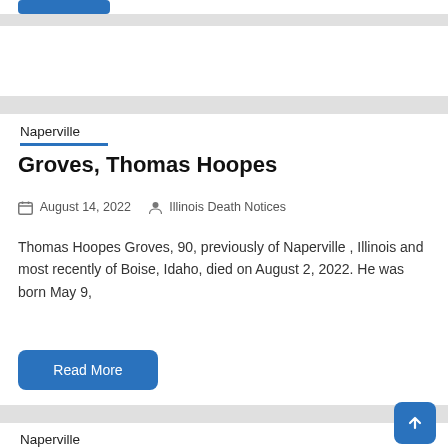Naperville
Groves, Thomas Hoopes
August 14, 2022   Illinois Death Notices
Thomas Hoopes Groves, 90, previously of Naperville , Illinois and most recently of Boise, Idaho, died on August 2, 2022. He was born May 9,
Naperville